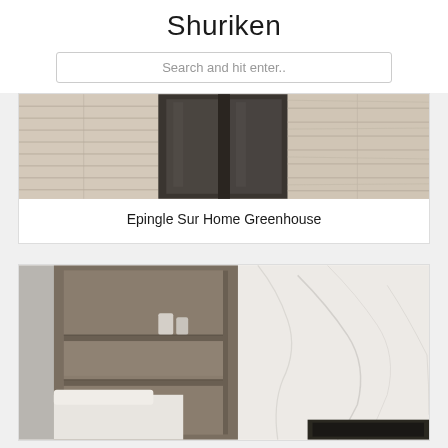Shuriken
Search and hit enter..
[Figure (photo): Interior photo showing a fireplace with dark framed glass doors, flanked by textured stone/concrete wall panels in beige and grey tones]
Epingle Sur Home Greenhouse
[Figure (photo): Interior photo showing a modern living room with built-in wooden shelving unit containing small decorative objects, white upholstered chair/sofa, and white marble wall with subtle grey veining; dark TV or fireplace unit visible at bottom right]